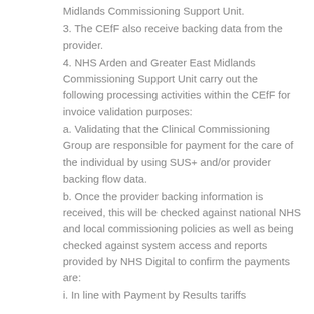Midlands Commissioning Support Unit.
3. The CEfF also receive backing data from the provider.
4. NHS Arden and Greater East Midlands Commissioning Support Unit carry out the following processing activities within the CEfF for invoice validation purposes:
a. Validating that the Clinical Commissioning Group are responsible for payment for the care of the individual by using SUS+ and/or provider backing flow data.
b. Once the provider backing information is received, this will be checked against national NHS and local commissioning policies as well as being checked against system access and reports provided by NHS Digital to confirm the payments are:
i. In line with Payment by Results tariffs